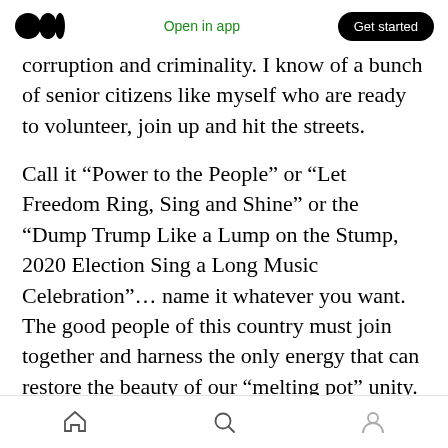Open in app | Get started
corruption and criminality. I know of a bunch of senior citizens like myself who are ready to volunteer, join up and hit the streets.
Call it “Power to the People” or “Let Freedom Ring, Sing and Shine” or the “Dump Trump Like a Lump on the Stump, 2020 Election Sing a Long Music Celebration”… name it whatever you want. The good people of this country must join together and harness the only energy that can restore the beauty of our “melting pot” unity. Our freedoms and our democracy can best be served (and perhaps not only be served…but
home | search | profile